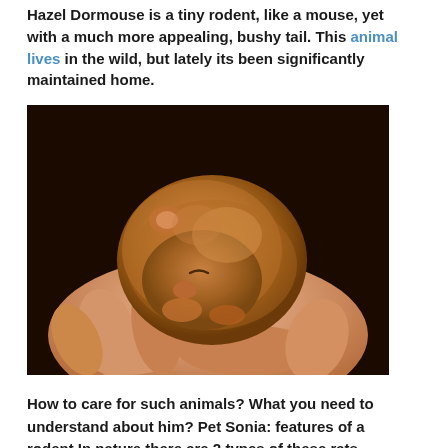Hazel Dormouse is a tiny rodent, like a mouse, yet with a much more appealing, bushy tail. This animal lives in the wild, but lately its been significantly maintained home.
[Figure (photo): A tiny dormouse curled up and sleeping in a human hand, showing its brown/orange fur]
How to care for such animals? What you need to understand about him? Pet Sonia: features of a rodent In nature there are 2 types of these rats — Dormouse earthbound and arboreal. Ground extra reminiscent of the common computer mouse, as well as wood similar to a squirrel. As well as those and others live well with an individual, if they are created one of the most comfy conditions for life.